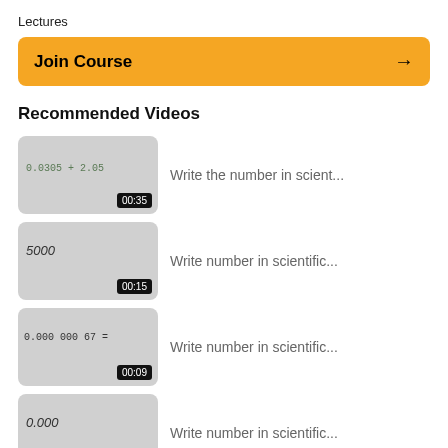Lectures
Join Course →
Recommended Videos
Write the number in scient... 00:35
Write number in scientific... 00:15
Write number in scientific... 00:09
Write number in scientific... 00:17